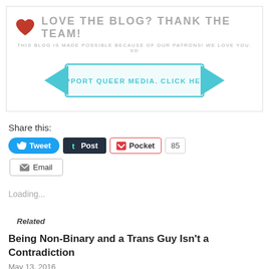[Figure (infographic): Love the Blog? Thank the Team! banner with heart icon, patron text, and 'Support Queer Media. Click Here!' ribbon button in teal/cyan color.]
Share this:
[Figure (infographic): Social share buttons: Tweet (blue), Post (dark), Pocket (with red icon), count badge 85, Email button]
Loading...
Related
Being Non-Binary and a Trans Guy Isn't a Contradiction
May 13, 2016